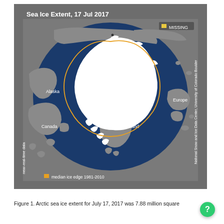[Figure (map): Arctic sea ice extent map for July 17, 2017. Shows the Arctic Ocean from a polar perspective. White area represents sea ice cover centered on the North Pole. Dark blue represents open ocean. Gray areas represent land masses (Russia, Alaska, Canada, Greenland, Europe). An orange line marks the median ice edge for 1981-2010. A small yellow square in the upper right marks 'MISSING' data. Vertical text on left reads 'near-real-time data'. Vertical text on right reads 'National Snow and Ice Data Center, University of Colorado Boulder'. Title reads 'Sea Ice Extent, 17 Jul 2017'. Legend shows orange square with 'median ice edge 1981-2010'.]
Figure 1. Arctic sea ice extent for July 17, 2017 was 7.88 million square